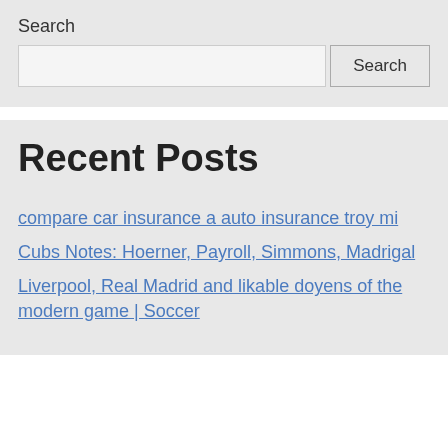Search
compare car insurance a auto insurance troy mi
Recent Posts
compare car insurance a auto insurance troy mi
Cubs Notes: Hoerner, Payroll, Simmons, Madrigal
Liverpool, Real Madrid and likable doyens of the modern game | Soccer